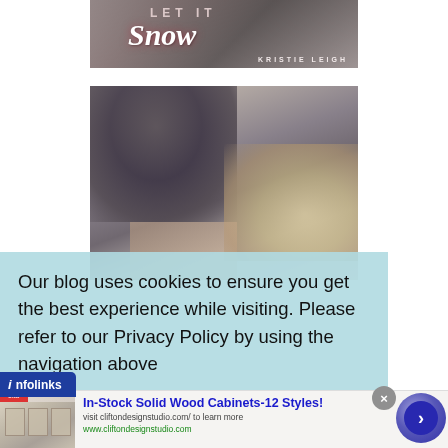[Figure (photo): Top portion of a book cover for 'Let It Snow' by Kristie Leigh, showing two people embracing with text overlay]
[Figure (photo): Close-up photo of the back of a man's head with light brown hair, and a blonde woman's head, an intimate couple portrait - part of the same book cover]
Our blog uses cookies to ensure you get the best experience while visiting. Please refer to our Privacy Policy by using the navigation above
[Figure (screenshot): Infolinks ad banner showing 'In-Stock Solid Wood Cabinets-12 Styles!' with thumbnail image, URL cliftondesignstudio.com, and navigation arrow button]